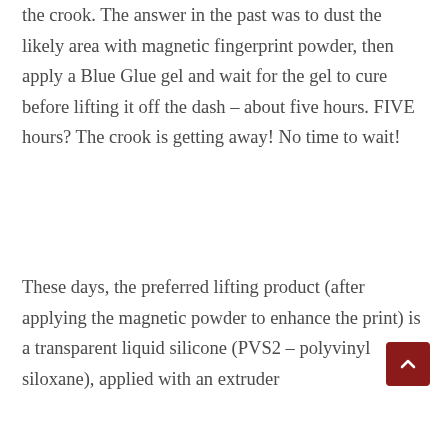the crook. The answer in the past was to dust the likely area with magnetic fingerprint powder, then apply a Blue Glue gel and wait for the gel to cure before lifting it off the dash – about five hours. FIVE hours? The crook is getting away! No time to wait!
These days, the preferred lifting product (after applying the magnetic powder to enhance the print) is a transparent liquid silicone (PVS2 – polyvinyl siloxane), applied with an extruder